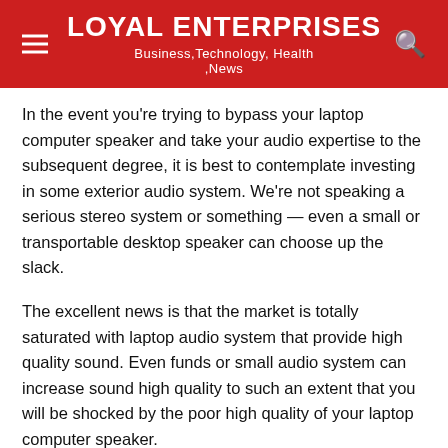LOYAL ENTERPRISES
Business,Technology, Health ,News
In the event you’re trying to bypass your laptop computer speaker and take your audio expertise to the subsequent degree, it is best to contemplate investing in some exterior audio system. We’re not speaking a serious stereo system or something — even a small or transportable desktop speaker can choose up the slack.
The excellent news is that the market is totally saturated with laptop audio system that provide high quality sound. Even funds or small audio system can increase sound high quality to such an extent that you will be shocked by the poor high quality of your laptop computer speaker.
There are a large number of PC audio system to select from and you may definitely pair your PC with a Bluetooth speaker